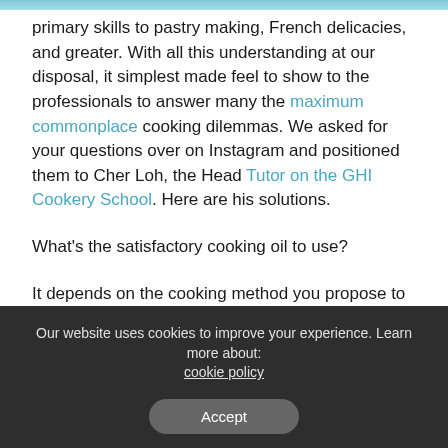primary skills to pastry making, French delicacies, and greater. With all this understanding at our disposal, it simplest made feel to show to the professionals to answer many the maximum commonplace cooking dilemmas. We asked for your questions over on Instagram and positioned them to Cher Loh, the Head Tutor on the GHI Cookery School. Here are his solutions.
What’s the satisfactory cooking oil to use?
It depends on the cooking method you propose to apply and the smoking points of the oil.
Low to medium-warmth: greater virgin olive oil
Medium- to excessive-warmness: avocado oil, rapeseed oil
Our website uses cookies to improve your experience. Learn more about: cookie policy
Accept